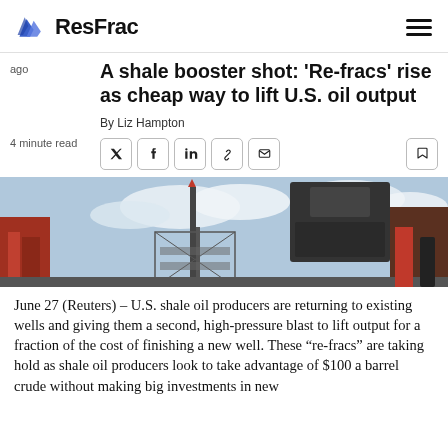ResFrac
ago
A shale booster shot: 'Re-fracs' rise as cheap way to lift U.S. oil output
By Liz Hampton
4 minute read
[Figure (photo): Industrial oilfield equipment and derrick against a cloudy sky]
June 27 (Reuters) – U.S. shale oil producers are returning to existing wells and giving them a second, high-pressure blast to lift output for a fraction of the cost of finishing a new well. These “re-fracs” are taking hold as shale oil producers look to take advantage of $100 a barrel crude without making big investments in new